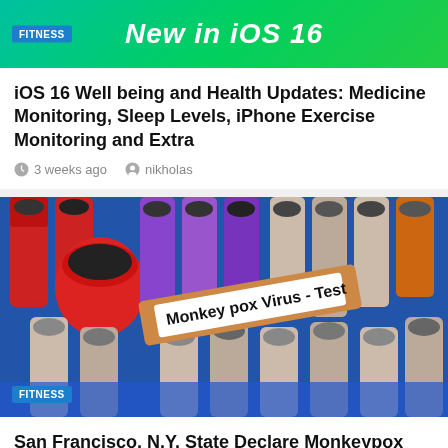[Figure (screenshot): Green gradient banner with 'New in iOS 16' title and FITNESS badge]
iOS 16 Well being and Health Updates: Medicine Monitoring, Sleep Levels, iPhone Exercise Monitoring and Extra
3 weeks ago   nikholas
[Figure (photo): Photo of medical blood test tubes with a label reading 'Monkey pox Virus - Test', FITNESS badge overlay]
San Francisco, N.Y. State Declare Monkeypox Public Well being Emergencies | Well being &